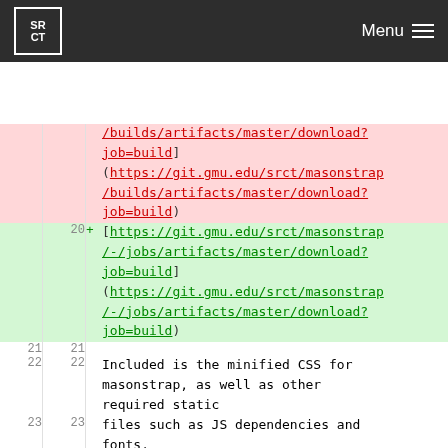SR CT  Menu
| old ln | new ln | sign | code |
| --- | --- | --- | --- |
|  |  |  | /builds/artifacts/master/download?job=build] (https://git.gmu.edu/srct/masonstrap/builds/artifacts/master/download?job=build) |
| 20 |  | + | [https://git.gmu.edu/srct/masonstrap/-/jobs/artifacts/master/download?job=build] (https://git.gmu.edu/srct/masonstrap/-/jobs/artifacts/master/download?job=build) |
| 21 | 21 |  |  |
| 22 | 22 |  | Included is the minified CSS for masonstrap, as well as other required static |
| 23 | 23 |  | files such as JS dependencies and fonts. |
| ... | ... |  | @@ -37,4 +37,17 @@ files such as JS dependencies and fonts. |
| 37 | 37 |  |  |
| 38 | 38 |  | sudo npm install -g gulp-cli |